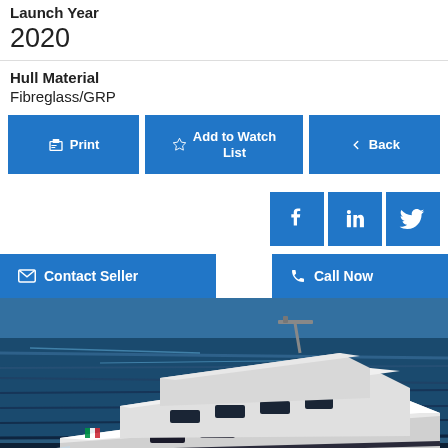Launch Year
2020
Hull Material
Fibreglass/GRP
Print | Add to Watch List | Back
[Figure (screenshot): Social media share buttons: Facebook, LinkedIn, Twitter]
Contact Seller | Call Now
[Figure (photo): Luxury motor yacht cruising on open blue sea, white hull, flybridge, aerial three-quarter bow view]